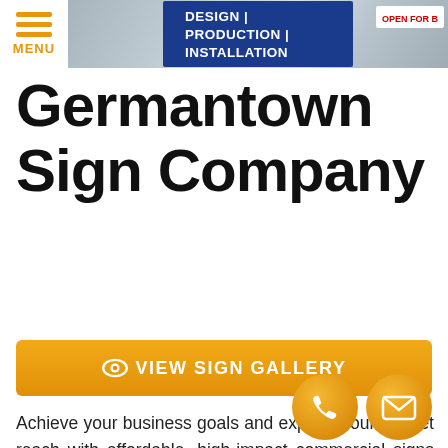DESIGN | PRODUCTION | INSTALLATION
Germantown Sign Company
[Figure (infographic): Orange button with eye icon: VIEW SIGN GALLERY]
Achieve your business goals and expand your market reach with affordable, high-impact commercial signs and graphics by Milwaukee Sign Company, your local Milwaukee sign company!
[Figure (infographic): Phone and mail contact icon buttons in orange circles at bottom right]